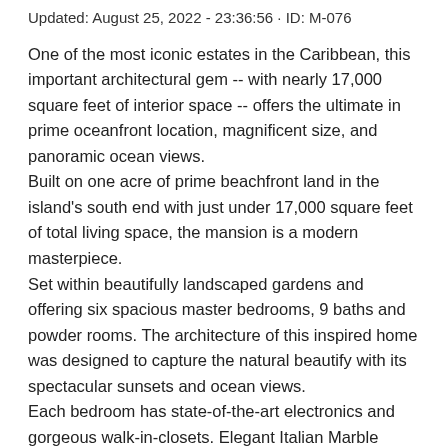Updated: August 25, 2022 - 23:36:56 · ID: M-076
One of the most iconic estates in the Caribbean, this important architectural gem -- with nearly 17,000 square feet of interior space -- offers the ultimate in prime oceanfront location, magnificent size, and panoramic ocean views.
Built on one acre of prime beachfront land in the island's south end with just under 17,000 square feet of total living space, the mansion is a modern masterpiece.
Set within beautifully landscaped gardens and offering six spacious master bedrooms, 9 baths and powder rooms. The architecture of this inspired home was designed to capture the natural beautify with its spectacular sunsets and ocean views.
Each bedroom has state-of-the-art electronics and gorgeous walk-in-closets. Elegant Italian Marble covers